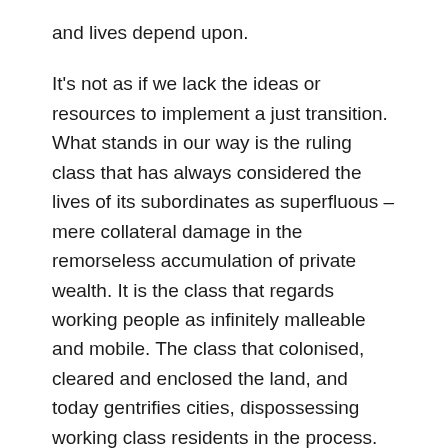and lives depend upon.
It's not as if we lack the ideas or resources to implement a just transition. What stands in our way is the ruling class that has always considered the lives of its subordinates as superfluous – mere collateral damage in the remorseless accumulation of private wealth. It is the class that regards working people as infinitely malleable and mobile. The class that colonised, cleared and enclosed the land, and today gentrifies cities, dispossessing working class residents in the process. The class that during the Irish famine preferred the preservation of laissez-faire principles to feeding the starving, and latterly contemplated herd immunity in the face of a pandemic. The class that built workhouses and gave us Universal Credit, and stands by as people freeze to death on the streets at Christmas for want of a home. The class that looks for a business opportunity in every